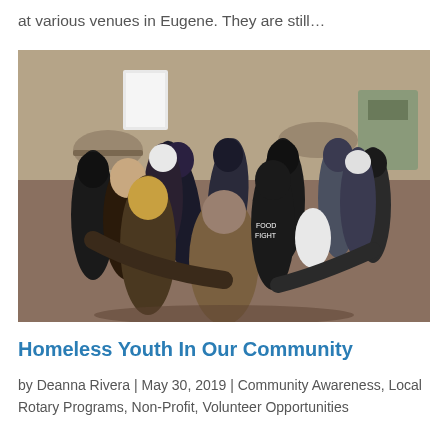at various venues in Eugene. They are still…
[Figure (photo): A group of young people standing in a circle with arms around each other in a huddle, inside what appears to be a community center or shelter. Tables and chairs are visible in the background.]
Homeless Youth In Our Community
by Deanna Rivera | May 30, 2019 | Community Awareness, Local Rotary Programs, Non-Profit, Volunteer Opportunities